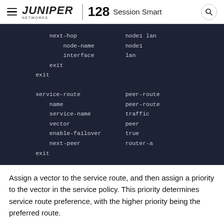128 Session Smart
[Figure (screenshot): Dark background code block showing network configuration with next-hop, node-name, interface, exit, service-route, name, service-name, vector, enable-failover, next-peer, and exit fields with their values node1 lan, node1, lan, peer-route, peer-route, traffic, peer, true, router-a]
Assign a vector to the service route, and then assign a priority to the vector in the service policy. This priority determines service route preference, with the higher priority being the preferred route.